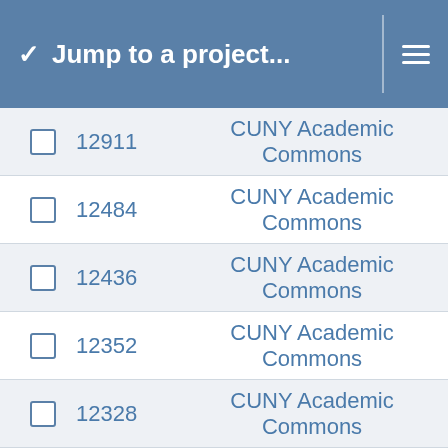Jump to a project...
12911   CUNY Academic Commons
12484   CUNY Academic Commons
12436   CUNY Academic Commons
12352   CUNY Academic Commons
12328   CUNY Academic Commons